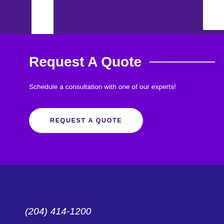Request A Quote
Schedule a consultation with one of our experts!
REQUEST A QUOTE
(204) 414-1200